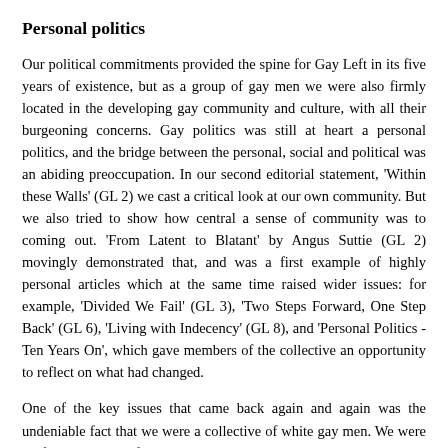Personal politics
Our political commitments provided the spine for Gay Left in its five years of existence, but as a group of gay men we were also firmly located in the developing gay community and culture, with all their burgeoning concerns. Gay politics was still at heart a personal politics, and the bridge between the personal, social and political was an abiding preoccupation. In our second editorial statement, 'Within these Walls' (GL 2) we cast a critical look at our own community. But we also tried to show how central a sense of community was to coming out. 'From Latent to Blatant' by Angus Suttie (GL 2) movingly demonstrated that, and was a first example of highly personal articles which at the same time raised wider issues: for example, 'Divided We Fail' (GL 3), 'Two Steps Forward, One Step Back' (GL 6), 'Living with Indecency' (GL 8), and 'Personal Politics - Ten Years On', which gave members of the collective an opportunity to reflect on what had changed.
One of the key issues that came back again and again was the undeniable fact that we were a collective of white gay men. We were up-front about this from the start by declaring in GL1 that this was 'a socialist journal produced by gay men'. That was not a boast but a bare statement of reality, though we also felt that there were advantages to remaining a closed group of men. We said we could 'best explore our sexual attitudes most truthfully in an all-